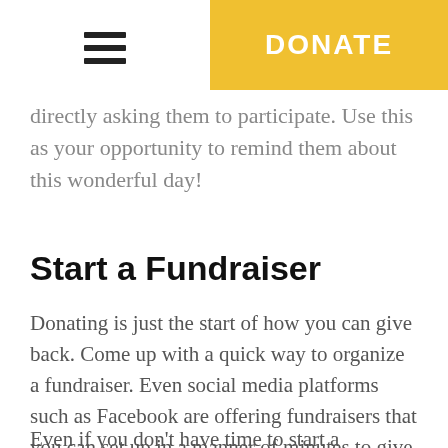DONATE
directly asking them to participate. Use this as your opportunity to remind them about this wonderful day!
Start a Fundraiser
Donating is just the start of how you can give back. Come up with a quick way to organize a fundraiser. Even social media platforms such as Facebook are offering fundraisers that you can set up in a manner of minutes to give back and then promote to your followers.
Even if you don't have time to start a